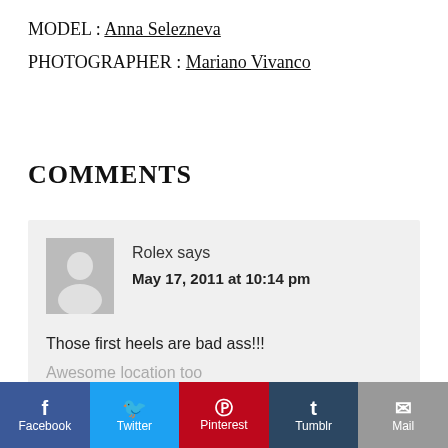MODEL : Anna Selezneva
PHOTOGRAPHER : Mariano Vivanco
COMMENTS
Rolex says
May 17, 2011 at 10:14 pm

Those first heels are bad ass!!!

Awesome location too